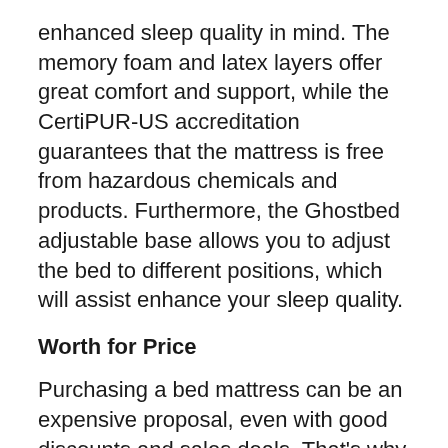enhanced sleep quality in mind. The memory foam and latex layers offer great comfort and support, while the CertiPUR-US accreditation guarantees that the mattress is free from hazardous chemicals and products. Furthermore, the Ghostbed adjustable base allows you to adjust the bed to different positions, which will assist enhance your sleep quality.
Worth for Price
Purchasing a bed mattress can be an expensive proposal, even with good discounts and sales deals. That's why it is so important to find a mattress that provides terrific value at a reasonable price point. The Ghostbed adjustable base provides great